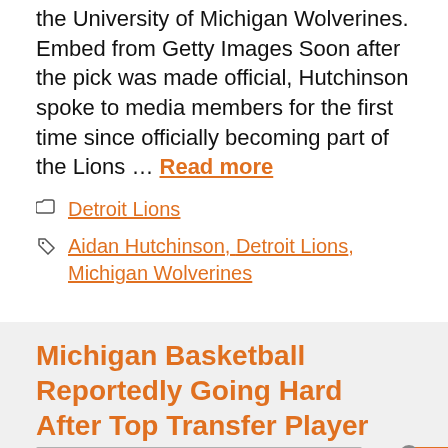the University of Michigan Wolverines. Embed from Getty Images Soon after the pick was made official, Hutchinson spoke to media members for the first time since officially becoming part of the Lions … Read more
Detroit Lions
Aidan Hutchinson, Detroit Lions, Michigan Wolverines
Michigan Basketball Reportedly Going Hard After Top Transfer Player
[Figure (screenshot): Video player with 'No compatible source was found for this media.' message, TheACPicture logo at bottom left, X icon in center, MICHIGAN watermark text at top right, close button circle at top right of player]